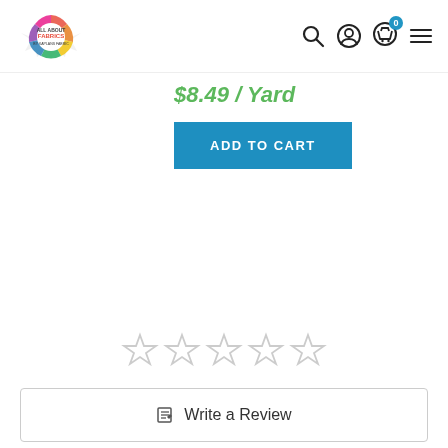All About Fabrics — navigation header with logo, search, account, cart (0), menu icons
$8.49 / Yard
ADD TO CART
[Figure (other): Five empty star rating icons (0 out of 5 stars)]
Write a Review